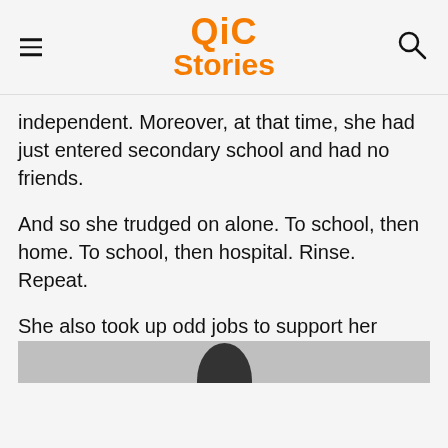QiC Stories
independent. Moreover, at that time, she had just entered secondary school and had no friends.
And so she trudged on alone. To school, then home. To school, then hospital. Rinse. Repeat.
She also took up odd jobs to support her family.
[Figure (photo): Partial photo of a person with dark hair against a light background, cropped at the top of the frame]